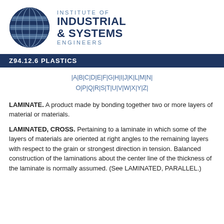[Figure (logo): Institute of Industrial & Systems Engineers (IISE) globe logo with organization name]
Z94.12.6 PLASTICS
|A|B|C|D|E|F|G|H|I|J|K|L|M|N| O|P|Q|R|S|T|U|V|W|X|Y|Z|
LAMINATE. A product made by bonding together two or more layers of material or materials.
LAMINATED, CROSS. Pertaining to a laminate in which some of the layers of materials are oriented at right angles to the remaining layers with respect to the grain or strongest direction in tension. Balanced construction of the laminations about the center line of the thickness of the laminate is normally assumed. (See LAMINATED, PARALLEL.)